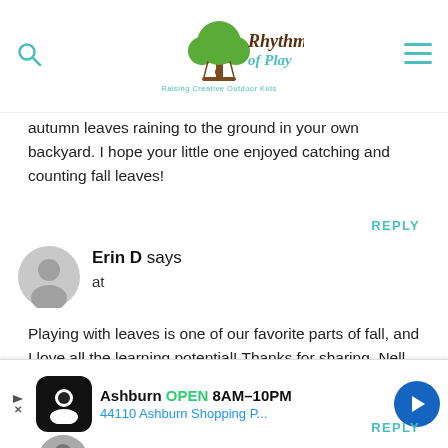Rhythms of Play — Raising Creative Outdoor Kids
autumn leaves raining to the ground in your own backyard. I hope your little one enjoyed catching and counting fall leaves!
REPLY
[Figure (illustration): Gray default user avatar icon (circle with person silhouette)]
Erin D says
at
Playing with leaves is one of our favorite parts of fall, and I love all the learning potential! Thanks for sharing, Nell.
REPLY
[Figure (photo): Circular profile photo of a person with dark hair]
nell says
[Figure (screenshot): Advertisement banner: Ashburn OPEN 8AM-10PM, 44110 Ashburn Shopping P...]